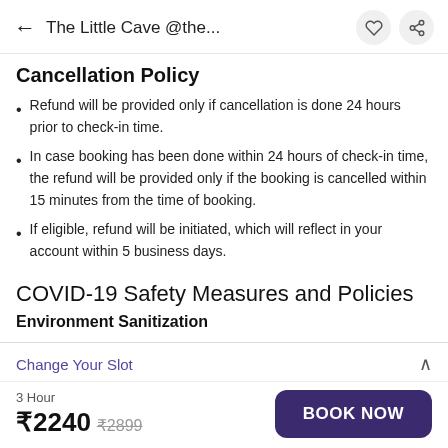The Little Cave @the...
Cancellation Policy
Refund will be provided only if cancellation is done 24 hours prior to check-in time.
In case booking has been done within 24 hours of check-in time, the refund will be provided only if the booking is cancelled within 15 minutes from the time of booking.
If eligible, refund will be initiated, which will reflect in your account within 5 business days.
COVID-19 Safety Measures and Policies
Environment Sanitization
Rooms Disinfection- Rooms are disinfected daily as per guidelines mentioned by WHO
Change Your Slot
3 Hour
₹2240  ₹2899
BOOK NOW